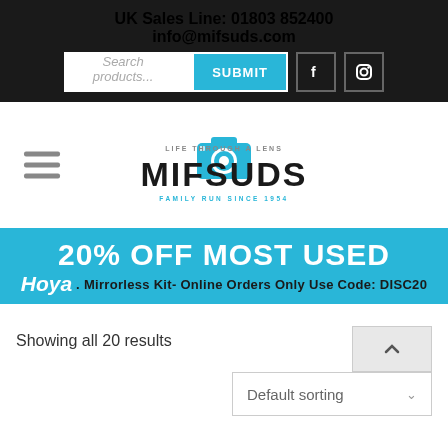UK Sales Line: 01803 852400
info@mifsuds.com
[Figure (screenshot): Search bar with SUBMIT button and social media icons (Facebook, Instagram)]
[Figure (logo): Mifsuds logo - camera icon with text MIFSUDS, tagline LIFE THROUGH A LENS, FAMILY RUN SINCE 1954]
20% OFF MOST USED Hoya. Mirrorless Kit- Online Orders Only Use Code: DISC20
Showing all 20 results
Default sorting